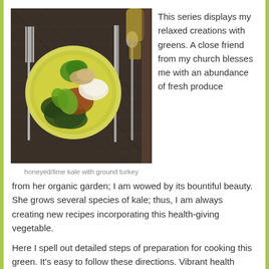[Figure (photo): Top-down photo of a yellow-green plate with food (kale, ground turkey, avocado, rice) on a dark woven placemat with fork and knife on left and knife and spoon on right]
honeyed/lime kale with ground turkey
This series displays my relaxed creations with greens.  A close friend from my church blesses me with an abundance of fresh produce from her organic garden; I am wowed by its bountiful beauty.  She grows several species of kale; thus, I am always creating new recipes incorporating this health-giving vegetable.
Here I spell out detailed steps of preparation for cooking this green.  It's easy to follow these directions.  Vibrant health results!
My recent series of posts on 19th century French foods defines Classic French Cuisine (see Chicken a la Oignon, 2016/07/04, Carrots au